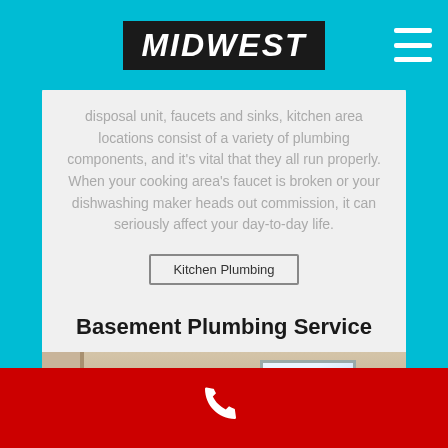Midwest [logo]
disposal unit, faucets and sinks, kitchen area locations consist of a variety of plumbing components, and it's vital that they all run properly. When your cooking area's faucet is broken or your dishwashing maker heads out commission, it can seriously affect your day-to-day life.
Kitchen Plumbing
Basement Plumbing Service
[Figure (photo): Interior room/basement photo showing walls and a window]
Phone icon (call button)